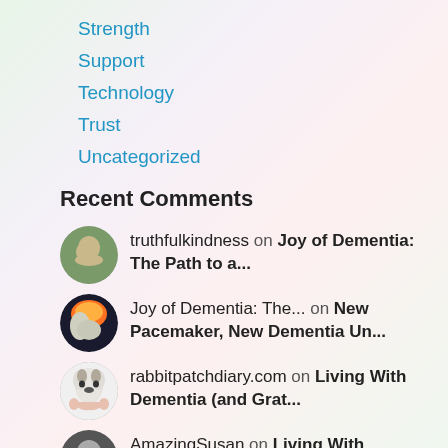Strength
Support
Technology
Trust
Uncategorized
Recent Comments
truthfulkindness on Joy of Dementia: The Path to a...
Joy of Dementia: The... on New Pacemaker, New Dementia Un...
rabbitpatchdiary.com on Living With Dementia (and Grat...
AmazingSusan on Living With Dementia